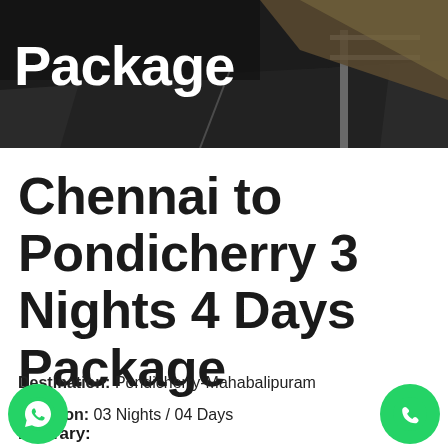[Figure (photo): Dark road/highway photo used as header background with partial title text 'Package' visible in white bold font]
Chennai to Pondicherry 3 Nights 4 Days Package
Destination: Pondicherry-Mahabalipuram
Duration: 03 Nights / 04 Days
Itinerary: